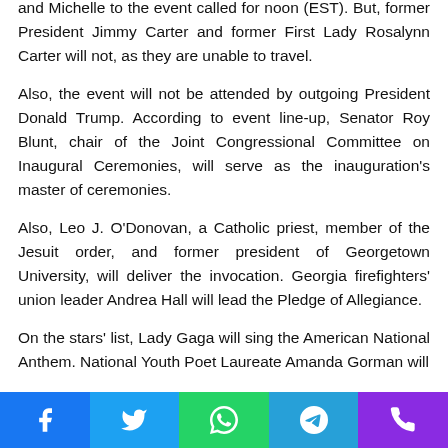and Michelle to the event called for noon (EST). But, former President Jimmy Carter and former First Lady Rosalynn Carter will not, as they are unable to travel.
Also, the event will not be attended by outgoing President Donald Trump. According to event line-up, Senator Roy Blunt, chair of the Joint Congressional Committee on Inaugural Ceremonies, will serve as the inauguration's master of ceremonies.
Also, Leo J. O'Donovan, a Catholic priest, member of the Jesuit order, and former president of Georgetown University, will deliver the invocation. Georgia firefighters' union leader Andrea Hall will lead the Pledge of Allegiance.
On the stars' list, Lady Gaga will sing the American National Anthem. National Youth Poet Laureate Amanda Gorman will
Social media share bar: Facebook, Twitter, WhatsApp, Telegram, Phone